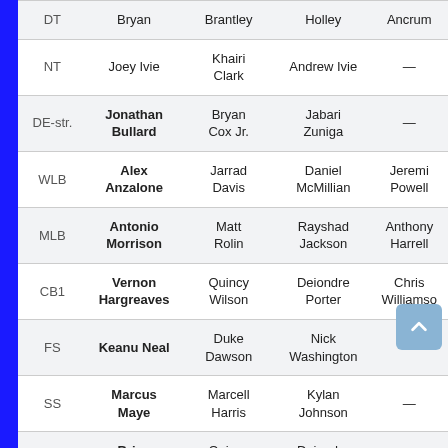| Position | Starter | 2nd | 3rd | 4th |
| --- | --- | --- | --- | --- |
| DT | Bryan | Brantley | Holley | Ancrum |
| NT | Joey Ivie | Khairi Clark | Andrew Ivie | — |
| DE-str. | Jonathan Bullard | Bryan Cox Jr. | Jabari Zuniga | — |
| WLB | Alex Anzalone | Jarrad Davis | Daniel McMillian | Jeremi Powell |
| MLB | Antonio Morrison | Matt Rolin | Rayshad Jackson | Anthony Harrell |
| CB1 | Vernon Hargreaves | Quincy Wilson | Deiondre Porter | Chris Williamso |
| FS | Keanu Neal | Duke Dawson | Nick Washington | — |
| SS | Marcus Maye | Marcell Harris | Kylan Johnson | — |
| Nickel* | Brian Poole | Quincy Wilson | Deiondre Porter | — |